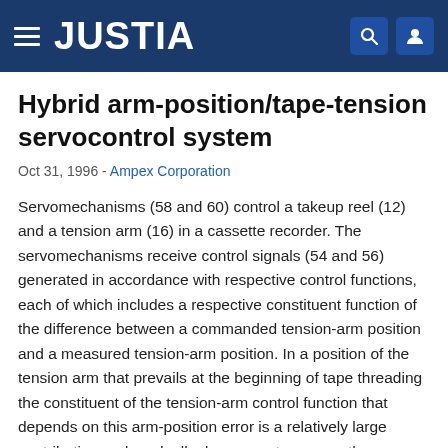JUSTIA
Hybrid arm-position/tape-tension servocontrol system
Oct 31, 1996 - Ampex Corporation
Servomechanisms (58 and 60) control a takeup reel (12) and a tension arm (16) in a cassette recorder. The servomechanisms receive control signals (54 and 56) generated in accordance with respective control functions, each of which includes a respective constituent function of the difference between a commanded tension-arm position and a measured tension-arm position. In a position of the tension arm that prevails at the beginning of tape threading the constituent of the tension-arm control function that depends on this arm-position error is a relatively large contribution and gradually decreases to zero as the